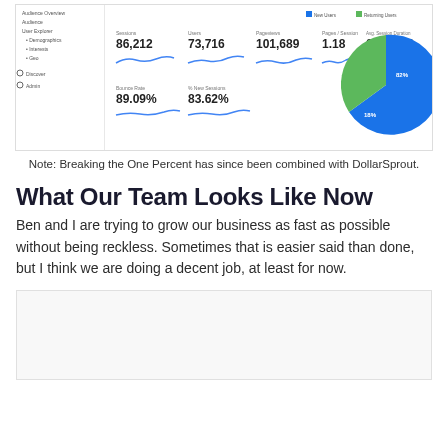[Figure (screenshot): Google Analytics dashboard screenshot showing metrics: Sessions 86,212; Users 73,716; Pageviews 101,689; Pages/Session 1.18; Avg Session Duration 00:00:59; Bounce Rate 89.09%; % New Sessions 83.62%. A pie chart on the right shows New Users vs Returning Users split.]
Note: Breaking the One Percent has since been combined with DollarSprout.
What Our Team Looks Like Now
Ben and I are trying to grow our business as fast as possible without being reckless. Sometimes that is easier said than done, but I think we are doing a decent job, at least for now.
[Figure (screenshot): Partially visible screenshot at bottom of page, content cut off.]